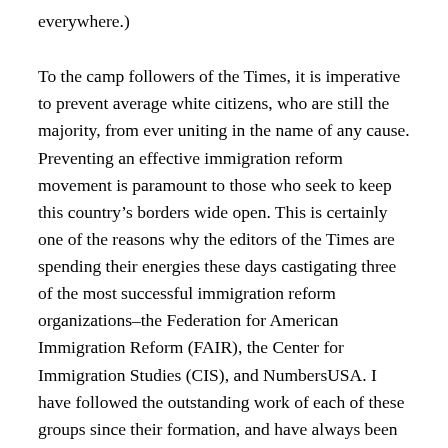everywhere.)
To the camp followers of the Times, it is imperative to prevent average white citizens, who are still the majority, from ever uniting in the name of any cause. Preventing an effective immigration reform movement is paramount to those who seek to keep this country’s borders wide open. This is certainly one of the reasons why the editors of the Times are spending their energies these days castigating three of the most successful immigration reform organizations–the Federation for American Immigration Reform (FAIR), the Center for Immigration Studies (CIS), and NumbersUSA. I have followed the outstanding work of each of these groups since their formation, and have always been impressed by the respectful manner in which they handle what has become a volatile subject.
The Times further discredits itself by favorably